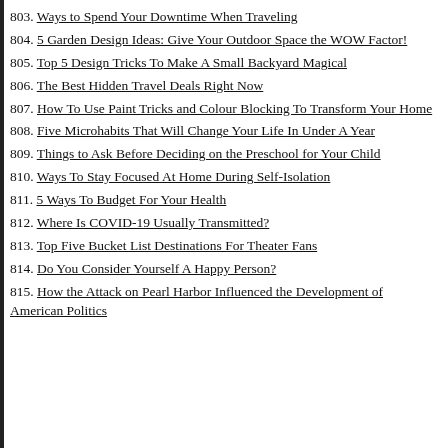803. Ways to Spend Your Downtime When Traveling
804. 5 Garden Design Ideas: Give Your Outdoor Space the WOW Factor!
805. Top 5 Design Tricks To Make A Small Backyard Magical
806. The Best Hidden Travel Deals Right Now
807. How To Use Paint Tricks and Colour Blocking To Transform Your Home
808. Five Microhabits That Will Change Your Life In Under A Year
809. Things to Ask Before Deciding on the Preschool for Your Child
810. Ways To Stay Focused At Home During Self-Isolation
811. 5 Ways To Budget For Your Health
812. Where Is COVID-19 Usually Transmitted?
813. Top Five Bucket List Destinations For Theater Fans
814. Do You Consider Yourself A Happy Person?
815. How the Attack on Pearl Harbor Influenced the Development of American Politics